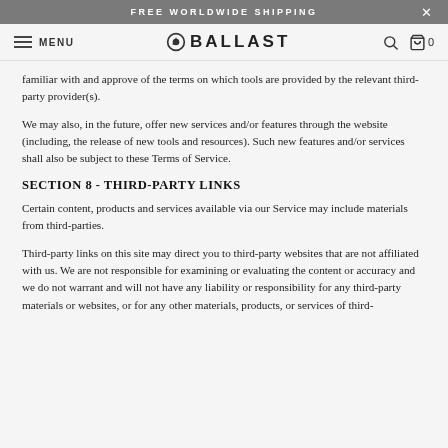FREE WORLDWIDE SHIPPING
familiar with and approve of the terms on which tools are provided by the relevant third-party provider(s).
We may also, in the future, offer new services and/or features through the website (including, the release of new tools and resources). Such new features and/or services shall also be subject to these Terms of Service.
SECTION 8 - THIRD-PARTY LINKS
Certain content, products and services available via our Service may include materials from third-parties.
Third-party links on this site may direct you to third-party websites that are not affiliated with us. We are not responsible for examining or evaluating the content or accuracy and we do not warrant and will not have any liability or responsibility for any third-party materials or websites, or for any other materials, products, or services of third-